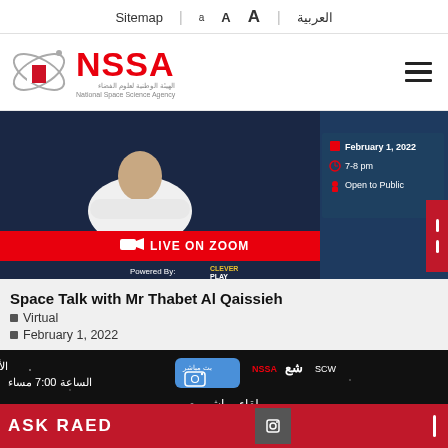Sitemap | A A A | العربية
[Figure (logo): NSSA National Space Science Agency logo with Bahrain flag orbital icon]
[Figure (screenshot): Event banner: Space Talk with Mr Thabet Al Qaissieh, LIVE ON ZOOM, February 1 2022, 7-8 pm, Open to Public, Powered By Clever Play]
Space Talk with Mr Thabet Al Qaissieh
Virtual
February 1, 2022
[Figure (screenshot): Arabic event banner for live Instagram session about participating in the launch of the first Bahraini satellite, Wednesday December 22 2021 at 7:00 pm, NSSA logo]
ASK RAED